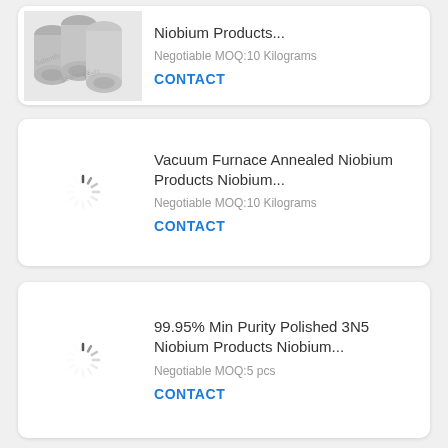[Figure (screenshot): Partial product card at top showing metal niobium tube products image with watermark]
Niobium Products...
Negotiable MOQ:10 Kilograms
CONTACT
[Figure (illustration): Loading spinner icon for second product card]
Vacuum Furnace Annealed Niobium Products Niobium...
Negotiable MOQ:10 Kilograms
CONTACT
[Figure (illustration): Loading spinner icon for third product card]
99.95% Min Purity Polished 3N5 Niobium Products Niobium...
Negotiable MOQ:5 pcs
CONTACT